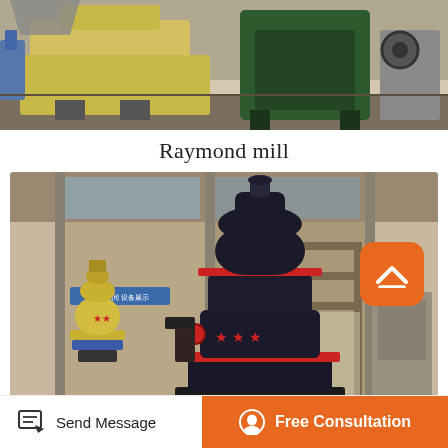[Figure (photo): Industrial machinery in a warehouse/factory — yellow and green heavy equipment including crushers and mills on a factory floor]
Raymond mill
[Figure (photo): Raymond mill machines in a factory setting — a large dark/black Raymond mill and a smaller yellow Raymond mill with red star decorations, inside an industrial building]
Send Message
Free Consultation